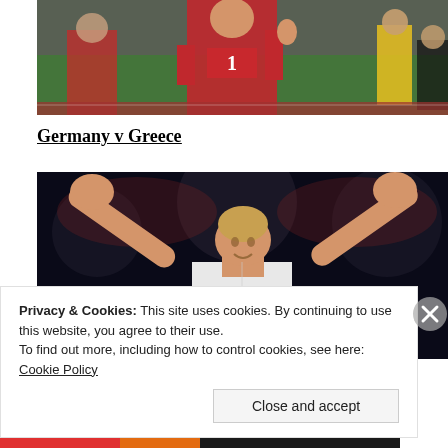[Figure (photo): Football match photo showing a player in red uniform giving thumbs up on a green pitch, with other players and a referee in yellow visible in the background]
Germany v Greece
[Figure (photo): Football player in white uniform celebrating with both arms raised wide, dark bokeh background]
Privacy & Cookies: This site uses cookies. By continuing to use this website, you agree to their use.
To find out more, including how to control cookies, see here: Cookie Policy
Close and accept